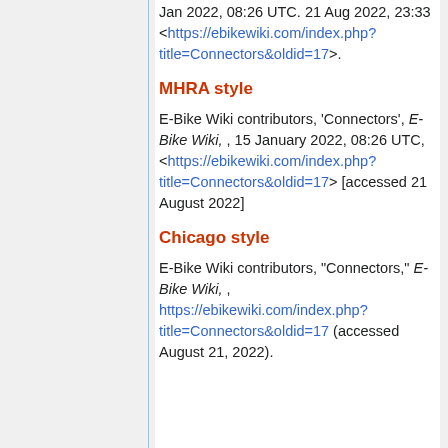Jan 2022, 08:26 UTC. 21 Aug 2022, 23:33 <https://ebikewiki.com/index.php?title=Connectors&oldid=17>.
MHRA style
E-Bike Wiki contributors, 'Connectors', E-Bike Wiki, , 15 January 2022, 08:26 UTC, <https://ebikewiki.com/index.php?title=Connectors&oldid=17> [accessed 21 August 2022]
Chicago style
E-Bike Wiki contributors, "Connectors," E-Bike Wiki, , https://ebikewiki.com/index.php?title=Connectors&oldid=17 (accessed August 21, 2022).